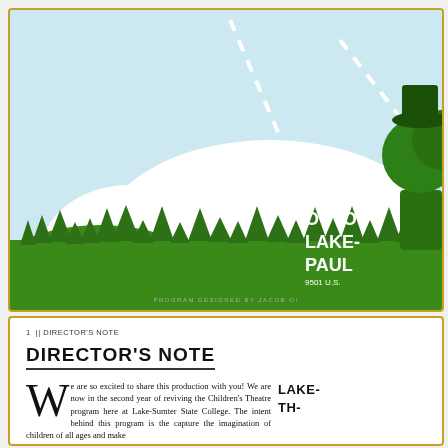[Figure (illustration): Children's theatre program cover illustration showing a green cartoon grass landscape with white cloud shapes against a light blue sky, white dashed path/road, and a green cartoon character (tree or figure) in the upper right. Text overlay in white bold: FRID-, OCTO-, LAKE-, PAUL-, 9501 U.S. ... Also watermark text: PROGRAM DESIGNED BY JACOB OI.]
1 || DIRECTOR'S NOTE
DIRECTOR'S NOTE
We are so excited to share this production with you! We are now in the second year of reviving the Children's Theatre program here at Lake-Sumter State College. The intent behind this program is the capture the imagination of children of all ages and make
LAKE- TH-